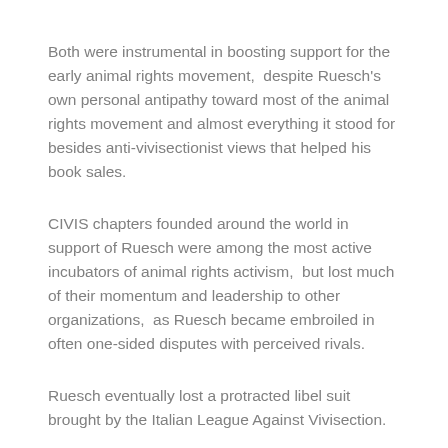Both were instrumental in boosting support for the early animal rights movement,  despite Ruesch's own personal antipathy toward most of the animal rights movement and almost everything it stood for besides anti-vivisectionist views that helped his book sales.
CIVIS chapters founded around the world in support of Ruesch were among the most active incubators of animal rights activism,  but lost much of their momentum and leadership to other organizations,  as Ruesch became embroiled in often one-sided disputes with perceived rivals.
Ruesch eventually lost a protracted libel suit brought by the Italian League Against Vivisection.